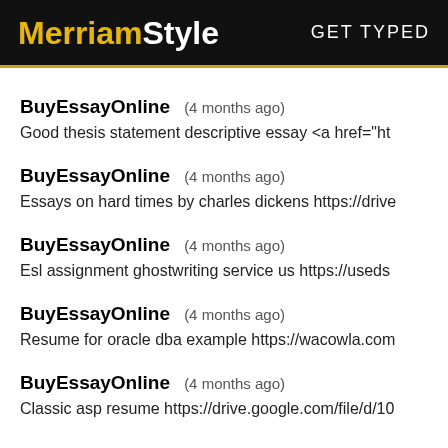MerriamStyle  GET TYPED
BuyEssayOnline  (4 months ago)
Good thesis statement descriptive essay <a href="ht
BuyEssayOnline  (4 months ago)
Essays on hard times by charles dickens https://drive
BuyEssayOnline  (4 months ago)
Esl assignment ghostwriting service us https://useds
BuyEssayOnline  (4 months ago)
Resume for oracle dba example https://wacowla.com
BuyEssayOnline  (4 months ago)
Classic asp resume https://drive.google.com/file/d/10